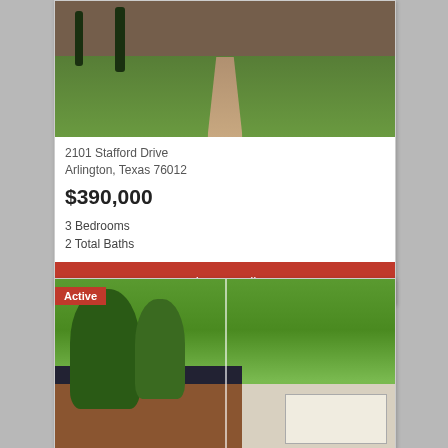[Figure (photo): Front exterior photo of house at 2101 Stafford Drive, Arlington TX - brick home with green lawn and tree-lined path]
2101 Stafford Drive
Arlington, Texas 76012
$390,000
3 Bedrooms
2 Total Baths
View Details
[Figure (photo): Active listing - front exterior of ranch-style brick home with large trees, dark roof, and white garage door]
Active